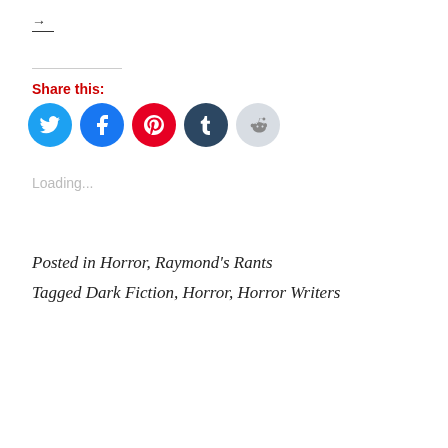[Figure (other): Navigation arrow icon with horizontal line below]
Share this:
[Figure (other): Row of social media icon buttons: Twitter (blue bird), Facebook (blue f), Pinterest (red P), Tumblr (dark blue t), Reddit (light grey alien)]
Loading...
Posted in Horror, Raymond's Rants
Tagged Dark Fiction, Horror, Horror Writers